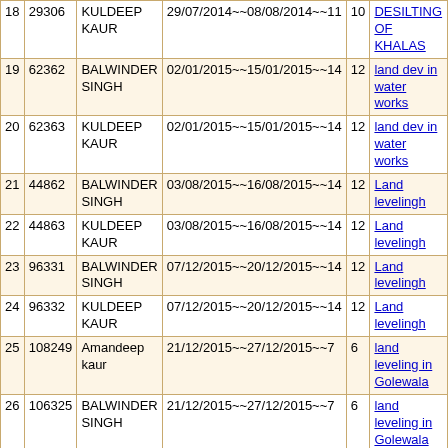| # | ID | Name | Date Range | Days | Work Type |
| --- | --- | --- | --- | --- | --- |
| 18 | 29306 | KULDEEP KAUR | 29/07/2014~~08/08/2014~~11 | 10 | DESILTING OF KHALAS |
| 19 | 62362 | BALWINDER SINGH | 02/01/2015~~15/01/2015~~14 | 12 | land dev in water works |
| 20 | 62363 | KULDEEP KAUR | 02/01/2015~~15/01/2015~~14 | 12 | land dev in water works |
| 21 | 44862 | BALWINDER SINGH | 03/08/2015~~16/08/2015~~14 | 12 | Land levelingh |
| 22 | 44863 | KULDEEP KAUR | 03/08/2015~~16/08/2015~~14 | 12 | Land levelingh |
| 23 | 96331 | BALWINDER SINGH | 07/12/2015~~20/12/2015~~14 | 12 | Land levelingh |
| 24 | 96332 | KULDEEP KAUR | 07/12/2015~~20/12/2015~~14 | 12 | Land levelingh |
| 25 | 108249 | Amandeep kaur | 21/12/2015~~27/12/2015~~7 | 6 | land leveling in Golewala |
| 26 | 106325 | BALWINDER SINGH | 21/12/2015~~27/12/2015~~7 | 6 | land leveling in Golewala |
| 27 | 106326 | KULDEEP KAUR | 21/12/2015~~27/12/2015~~7 | 6 | land leveling in Golewala |
| 28 | 111387 | Amandeep kaur | 28/12/2015~~03/01/2016~~7 | 6 | land leveling in Golewala |
| 29 | 111385 | BALWINDER SINGH | 28/12/2015~~03/01/2016~~7 | 6 | land leveling in Golewala |
| 30 | 111386 | KULDEEP KAUR | 28/12/2015~~03/01/2016~~7 | 6 | land leveling in Golewala |
| 31 | 148442 | Amandeep | 27/02/2016~~11/03/2016~~14 | 12 | rural |